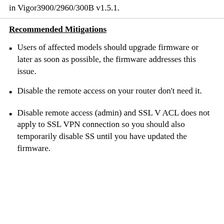in Vigor3900/2960/300B v1.5.1.
Recommended Mitigations
Users of affected models should upgrade firmware or later as soon as possible, the firmware addresses this issue.
Disable the remote access on your router don't need it.
Disable remote access (admin) and SSL V ACL does not apply to SSL VPN connection so you should also temporarily disable SS until you have updated the firmware.